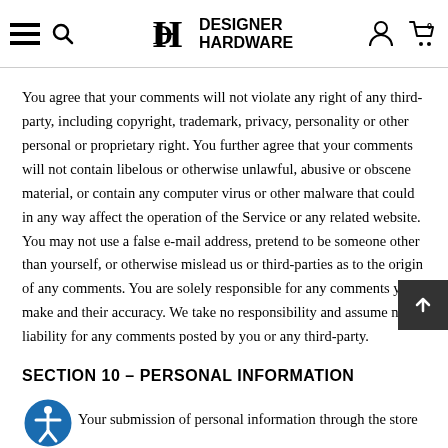DESIGNER HARDWARE
You agree that your comments will not violate any right of any third-party, including copyright, trademark, privacy, personality or other personal or proprietary right. You further agree that your comments will not contain libelous or otherwise unlawful, abusive or obscene material, or contain any computer virus or other malware that could in any way affect the operation of the Service or any related website. You may not use a false e-mail address, pretend to be someone other than yourself, or otherwise mislead us or third-parties as to the origin of any comments. You are solely responsible for any comments you make and their accuracy. We take no responsibility and assume no liability for any comments posted by you or any third-party.
SECTION 10 – PERSONAL INFORMATION
Your submission of personal information through the store is governed by our Privacy Policy.